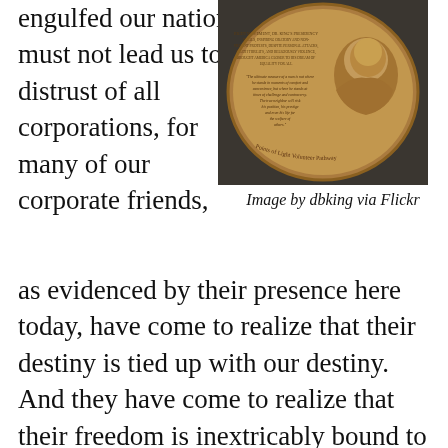engulfed our nation must not lead us to a distrust of all corporations, for many of our corporate friends,
[Figure (photo): A bronze medallion or coin featuring an engraved portrait of a man (MLK Jr.) on the right side, with inscribed text on the left side of the medallion. The medallion appears to be mounted on a dark surface, with curved text reading 'Points of Light Volunteer Pathway' around the edge.]
Image by dbking via Flickr
as evidenced by their presence here today, have come to realize that their destiny is tied up with our destiny. And they have come to realize that their freedom is inextricably bound to our freedom.